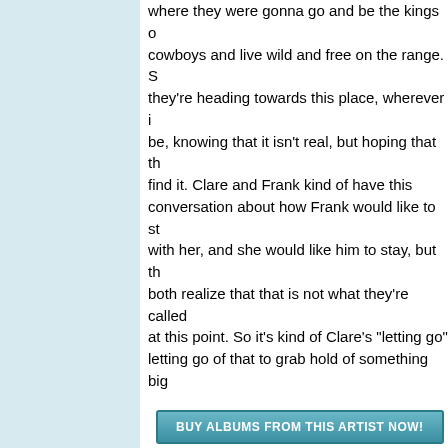where they were gonna go and be the kings of cowboys and live wild and free on the range. S they're heading towards this place, wherever i be, knowing that it isn't real, but hoping that th find it. Clare and Frank kind of have this conversation about how Frank would like to st with her, and she would like him to stay, but th both realize that that is not what they're called at this point. So it's kind of Clare's "letting go" letting go of that to grab hold of something big
[Figure (other): Button: BUY ALBUMS FROM THIS ARTIST NOW!]
Back To Canticle of the Plains
Artist Na (search input field)
Sponsored Links
Looking for a Bible? Find the right B
More From ChristiansUnite...  About Us | Christian Advertising | Policy | Recommend This Page | ChristiansUnite.com Si
Copyright © 1999-2019 ChristiansUnite.com Please send your questions, comments, or bug re